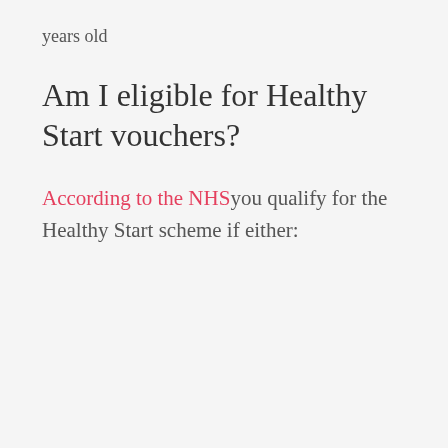years old
Am I eligible for Healthy Start vouchers?
According to the NHS you qualify for the Healthy Start scheme if either: